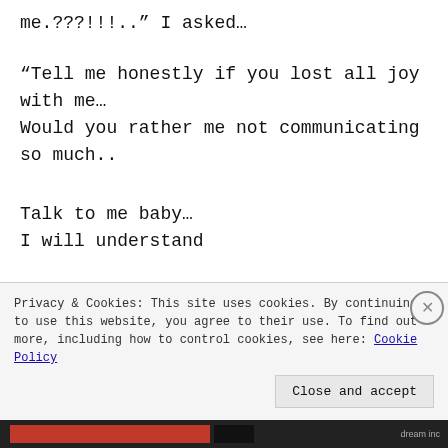me.???!!!.." I asked…
“Tell me honestly if you lost all joy with me…
Would you rather me not communicating so much..
Talk to me baby…
I will understand
Ho do yo des ti fo S la Z
Privacy & Cookies: This site uses cookies. By continuing to use this website, you agree to their use. To find out more, including how to control cookies, see here: Cookie Policy
Close and accept